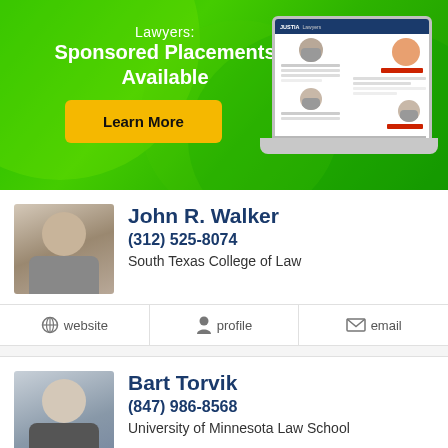[Figure (infographic): Green banner advertisement for Justia Lawyers sponsored placements, featuring a yellow Learn More button and a laptop illustration showing a lawyer directory website.]
John R. Walker
(312) 525-8074
South Texas College of Law
website
profile
email
Bart Torvik
(847) 986-8568
University of Minnesota Law School